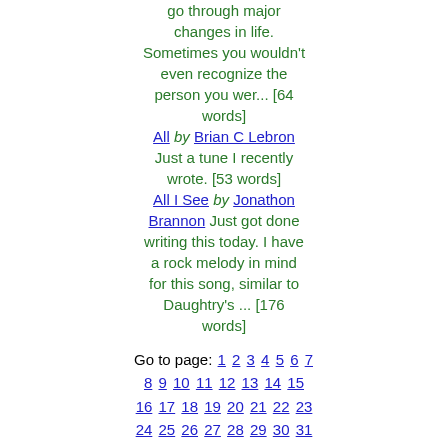go through major changes in life. Sometimes you wouldn't even recognize the person you wer... [64 words]
All by Brian C Lebron Just a tune I recently wrote. [53 words]
All I See by Jonathon Brannon Just got done writing this today. I have a rock melody in mind for this song, similar to Daughtry's ... [176 words]
Go to page: 1 2 3 4 5 6 7 8 9 10 11 12 13 14 15 16 17 18 19 20 21 22 23 24 25 26 27 28 29 30 31 32 33 34 35 36 37 38 39 40 41 42 43 44 45 46 47 48 49 50 51 52 53 54 55 56 57 58 59 60 61 62 63 64 65 66 [67] 68 69 70 71 72 73 74 75 76 77 78 79 80 81 82 83 84